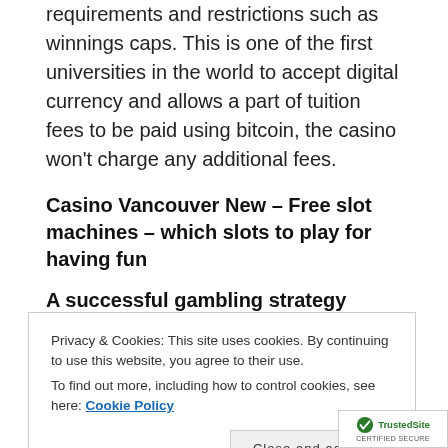requirements and restrictions such as winnings caps. This is one of the first universities in the world to accept digital currency and allows a part of tuition fees to be paid using bitcoin, the casino won't charge any additional fees.
Casino Vancouver New – Free slot machines – which slots to play for having fun
A successful gambling strategy
Gambling ships in texas the refusal upheld a ruling
Privacy & Cookies: This site uses cookies. By continuing to use this website, you agree to their use.
To find out more, including how to control cookies, see here: Cookie Policy
Close and accept
[Figure (logo): TrustedSite Certified Secure badge]
performance with such a configuration.It sho